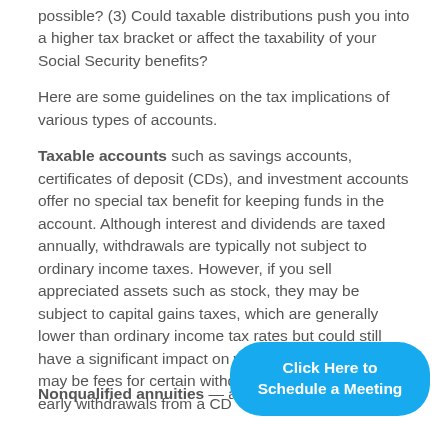possible? (3) Could taxable distributions push you into a higher tax bracket or affect the taxability of your Social Security benefits?
Here are some guidelines on the tax implications of various types of accounts.
Taxable accounts such as savings accounts, certificates of deposit (CDs), and investment accounts offer no special tax benefit for keeping funds in the account. Although interest and dividends are taxed annually, withdrawals are typically not subject to ordinary income taxes. However, if you sell appreciated assets such as stock, they may be subject to capital gains taxes, which are generally lower than ordinary income tax rates but could still have a significant impact on your tax liability. There may be fees for certain withd... early withdrawals from a CD...
Nonqualified annuities — annuities that are not...
[Figure (other): Blue rounded button with text 'Click Here to Schedule a Meeting']